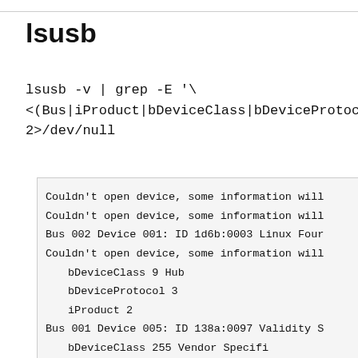lsusb
lsusb -v | grep -E '\
<(Bus|iProduct|bDeviceClass|bDeviceProtocol)'
2>/dev/null
Couldn't open device, some information will
Couldn't open device, some information will
Bus 002 Device 001: ID 1d6b:0003 Linux Four
Couldn't open device, some information will
  bDeviceClass           9 Hub
  bDeviceProtocol        3
  iProduct               2
Bus 001 Device 005: ID 138a:0097 Validity S
  bDeviceClass           255 Vendor Specifi
  bDeviceProtocol        255